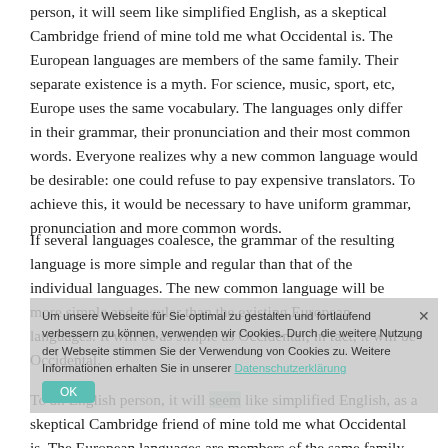person, it will seem like simplified English, as a skeptical Cambridge friend of mine told me what Occidental is. The European languages are members of the same family. Their separate existence is a myth. For science, music, sport, etc, Europe uses the same vocabulary. The languages only differ in their grammar, their pronunciation and their most common words. Everyone realizes why a new common language would be desirable: one could refuse to pay expensive translators. To achieve this, it would be necessary to have uniform grammar, pronunciation and more common words.
If several languages coalesce, the grammar of the resulting language is more simple and regular than that of the individual languages. The new common language will be more simple and regular than the existing European languages. It will be as simple as Occidental; in fact, it will be Occidental.
To an English person, it will seem like simplified English, as a skeptical Cambridge friend of mine told me what Occidental is. The European languages are members of the same family.